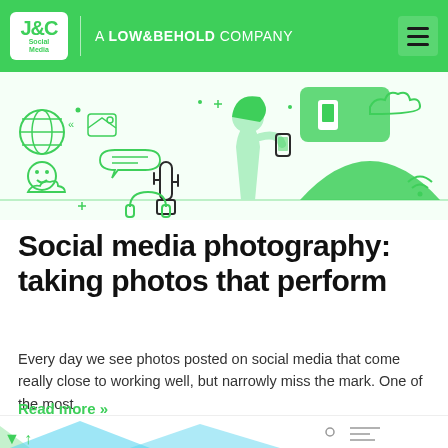JC Social Media — A LOW&BEHOLD COMPANY
[Figure (illustration): Green-themed social media illustration with icons: globe, smiley, chat bubbles, clouds, a person holding a phone, a cactus plant, a hill shape, and various social media icons. Line art style in green on white background.]
Social media photography: taking photos that perform
Every day we see photos posted on social media that come really close to working well, but narrowly miss the mark. One of the most
Read more »